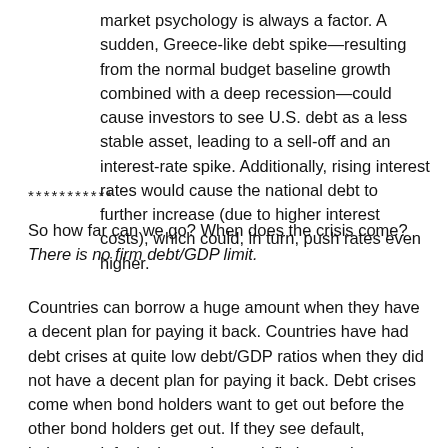market psychology is always a factor. A sudden, Greece-like debt spike—resulting from the normal budget baseline growth combined with a deep recession—could cause investors to see U.S. debt as a less stable asset, leading to a sell-off and an interest-rate spike. Additionally, rising interest rates would cause the national debt to further increase (due to higher interest costs), which could, in turn, push rates even higher.
***********
So how far can we go? When does the crisis come?  There is no firm debt/GDP limit.
Countries can borrow a huge amount when they have a decent plan for paying it back. Countries have had debt crises at quite low debt/GDP ratios when they did not have a decent plan for paying it back. Debt crises come when bond holders want to get out before the other bond holders get out. If they see default, haircuts, default via taxation, or inflation on the horizon, they get out. r<g contributes a bit